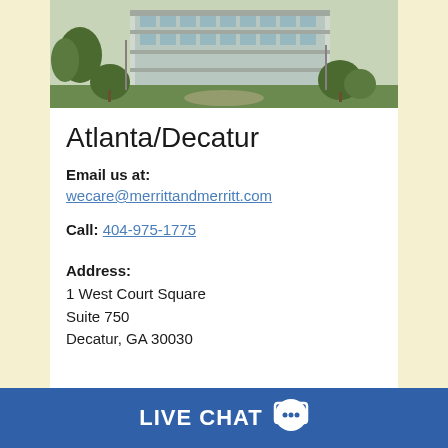[Figure (photo): Exterior photo of a modern office building with trees and a circular driveway, glass facade visible]
Atlanta/Decatur
Email us at:
wecare@merrittandmerritt.com
Call: 404-975-1775
Address:
1 West Court Square
Suite 750
Decatur, GA 30030
LIVE CHAT